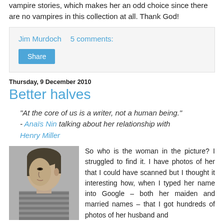vampire stories, which makes her an odd choice since there are no vampires in this collection at all. Thank God!
Jim Murdoch    5 comments:
Share
Thursday, 9 December 2010
Better halves
“At the core of us is a writer, not a human being.” - Anaïs Nin talking about her relationship with Henry Miller
[Figure (photo): Black and white photograph of a woman with short dark hair, wearing a striped top, looking to the side.]
So who is the woman in the picture? I struggled to find it. I have photos of her that I could have scanned but I thought it interesting how, when I typed her name into Google – both her maiden and married names – that I got hundreds of photos of her husband and